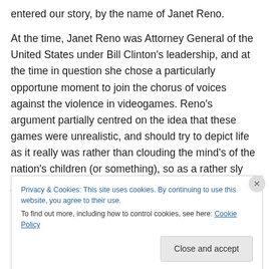entered our story, by the name of Janet Reno.

At the time, Janet Reno was Attorney General of the United States under Bill Clinton's leadership, and at the time in question she chose a particularly opportune moment to join the chorus of voices against the violence in videogames. Reno's argument partially centred on the idea that these games were unrealistic, and should try to depict life as it really was rather than clouding the mind's of the nation's children (or something), so as a rather sly joke Penn & Teller slipped one more minigame in, the only
Privacy & Cookies: This site uses cookies. By continuing to use this website, you agree to their use.
To find out more, including how to control cookies, see here: Cookie Policy